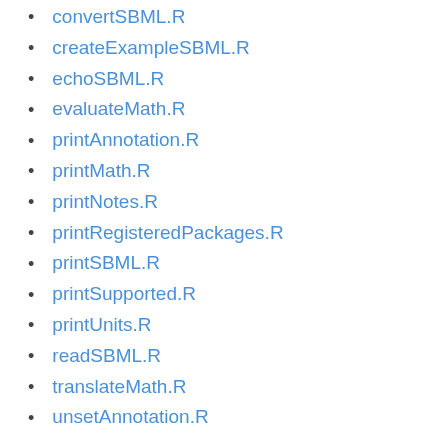convertSBML.R
createExampleSBML.R
echoSBML.R
evaluateMath.R
printAnnotation.R
printMath.R
printNotes.R
printRegisteredPackages.R
printSBML.R
printSupported.R
printUnits.R
readSBML.R
translateMath.R
unsetAnnotation.R